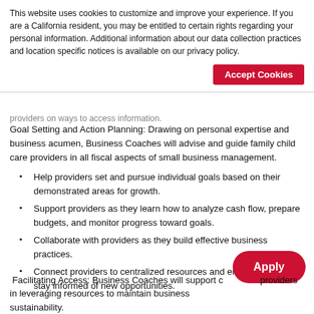This website uses cookies to customize and improve your experience. If you are a California resident, you may be entitled to certain rights regarding your personal information. Additional information about our data collection practices and location specific notices is available on our privacy policy.
Accept Cookies
providers on ways to access information.
Goal Setting and Action Planning: Drawing on personal expertise and business acumen, Business Coaches will advise and guide family child care providers in all fiscal aspects of small business management.
Help providers set and pursue individual goals based on their demonstrated areas for growth.
Support providers as they learn how to analyze cash flow, prepare budgets, and monitor progress toward goals.
Collaborate with providers as they build effective business practices.
Connect providers to centralized resources and encourage them to stay informed of new opportunities.
Apply
Facilitating Access: Business Coaches will support child care providers in leveraging resources to maintain business sustainability.